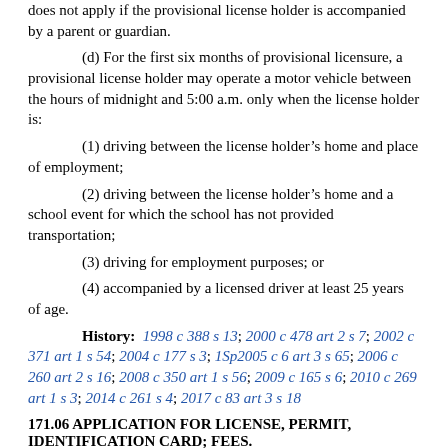does not apply if the provisional license holder is accompanied by a parent or guardian.
(d) For the first six months of provisional licensure, a provisional license holder may operate a motor vehicle between the hours of midnight and 5:00 a.m. only when the license holder is:
(1) driving between the license holder’s home and place of employment;
(2) driving between the license holder’s home and a school event for which the school has not provided transportation;
(3) driving for employment purposes; or
(4) accompanied by a licensed driver at least 25 years of age.
History: 1998 c 388 s 13; 2000 c 478 art 2 s 7; 2002 c 371 art 1 s 54; 2004 c 177 s 3; 1Sp2005 c 6 art 3 s 65; 2006 c 260 art 2 s 16; 2008 c 350 art 1 s 56; 2009 c 165 s 6; 2010 c 269 art 1 s 3; 2014 c 261 s 4; 2017 c 83 art 3 s 18
171.06 APPLICATION FOR LICENSE, PERMIT, IDENTIFICATION CARD; FEES.